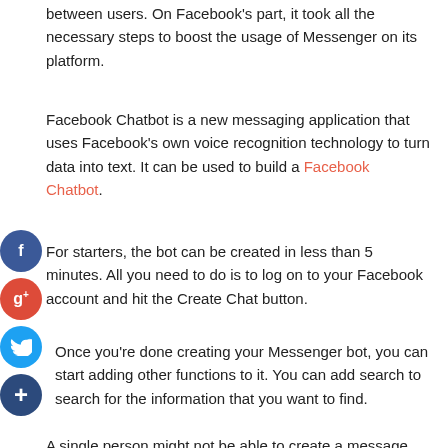between users. On Facebook's part, it took all the necessary steps to boost the usage of Messenger on its platform.
Facebook Chatbot is a new messaging application that uses Facebook's own voice recognition technology to turn data into text. It can be used to build a Facebook Chatbot.
For starters, the bot can be created in less than 5 minutes. All you need to do is to log on to your Facebook account and hit the Create Chat button.
Once you're done creating your Messenger bot, you can start adding other functions to it. You can add search to search for the information that you want to find.
A single person might not be able to create a message box that can communicate with hundreds of users in just 5